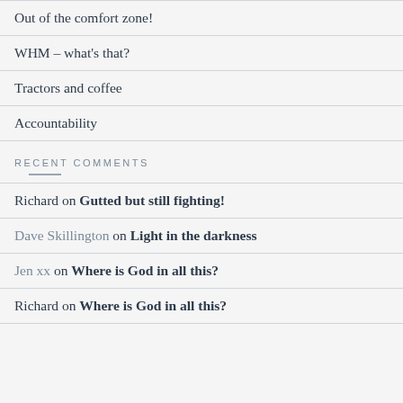Out of the comfort zone!
WHM – what's that?
Tractors and coffee
Accountability
RECENT COMMENTS
Richard on Gutted but still fighting!
Dave Skillington on Light in the darkness
Jen xx on Where is God in all this?
Richard on Where is God in all this?